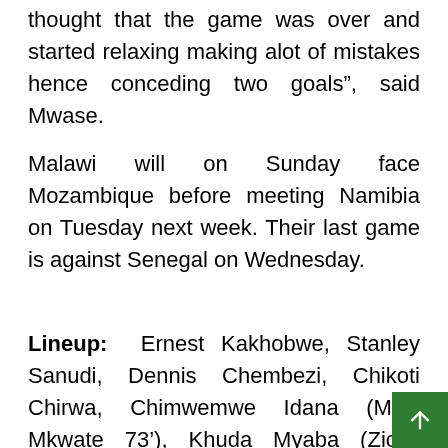thought that the game was over and started relaxing making alot of mistakes hence conceding two goals”, said Mwase.
Malawi will on Sunday face Mozambique before meeting Namibia on Tuesday next week. Their last game is against Senegal on Wednesday.
Lineup: Ernest Kakhobwe, Stanley Sanudi, Dennis Chembezi, Chikoti Chirwa, Chimwemwe Idana (Mike Mkwate 73’), Khuda Myaba (Zicco Mkanda 8…), Muhammad Sulumba (Ndaziona Chatsalira…